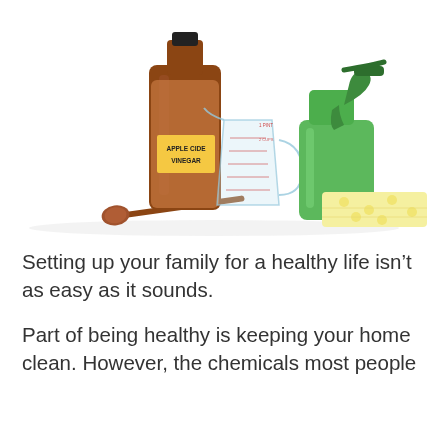[Figure (photo): Cleaning supplies on white background: a brown glass bottle labeled 'Apple Cider Vinegar', a glass measuring cup, a green plastic spray bottle, a folded yellow cloth with polka dots, and a wooden-handled spoon.]
Setting up your family for a healthy life isn't as easy as it sounds.
Part of being healthy is keeping your home clean. However, the chemicals most people use to clean can be unhealthy themselves.